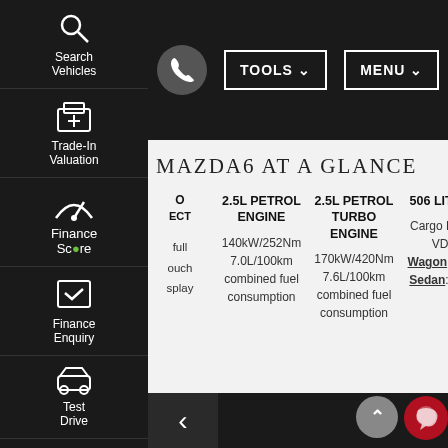[Figure (screenshot): Left sidebar navigation with icons: Search Vehicles, Trade-In Valuation, Finance Score, Finance Enquiry, Test Drive, Click To Buy]
[Figure (screenshot): Top navigation bar with phone icon, TOOLS dropdown button, and MENU dropdown button]
MAZDA6 AT A GLANCE
| [partial] | 2.5L PETROL ENGINE | 2.5L PETROL TURBO ENGINE | 506 LITRES |
| --- | --- | --- | --- |
| full | 140kW/252Nm | 170kW/420Nm | Cargo Room VDA |
| ouch | 7.0L/100km | 7.6L/100km | Wagon: 506L |
| splay | combined fuel consumption | combined fuel consumption | Sedan: 474L |